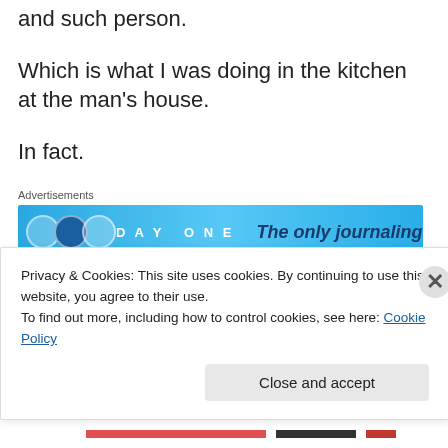and such person.
Which is what I was doing in the kitchen at the man's house.
In fact.
[Figure (other): Advertisement banner for Day One journaling app with blue background, showing 'DAY ONE' logo with circular icons and text 'The only journaling']
It was he who encouraged me to check it via my phone.
Privacy & Cookies: This site uses cookies. By continuing to use this website, you agree to their use. To find out more, including how to control cookies, see here: Cookie Policy
Close and accept